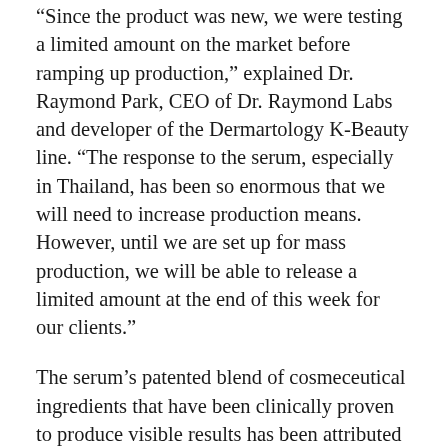“Since the product was new, we were testing a limited amount on the market before ramping up production,” explained Dr. Raymond Park, CEO of Dr. Raymond Labs and developer of the Dermartology K-Beauty line. “The response to the serum, especially in Thailand, has been so enormous that we will need to increase production means. However, until we are set up for mass production, we will be able to release a limited amount at the end of this week for our clients.”
The serum’s patented blend of cosmeceutical ingredients that have been clinically proven to produce visible results has been attributed to its fly-off-the-shelf popularity. This all in one serum is infused with a wrinkle reducing, skin brightening and barrier strengthening complex of Sytenol A, Aquatide , Dualguard-9 ™, Defensamide.
Sytenol A (Bakuchiol) is the plant-derived, natural